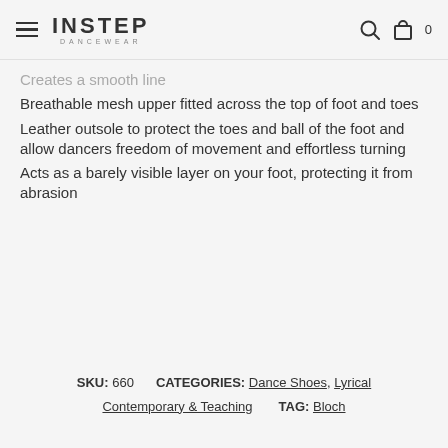INSTEP DANCEWEAR
Creates a smooth line
Breathable mesh upper fitted across the top of foot and toes
Leather outsole to protect the toes and ball of the foot and allow dancers freedom of movement and effortless turning
Acts as a barely visible layer on your foot, protecting it from abrasion
SKU: 660   CATEGORIES: Dance Shoes, Lyrical Contemporary & Teaching   TAG: Bloch